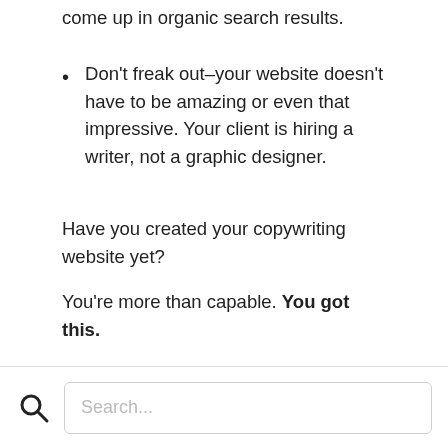website like a landing page and don't count on it to come up in organic search results.
Don't freak out–your website doesn't have to be amazing or even that impressive. Your client is hiring a writer, not a graphic designer.
Have you created your copywriting website yet?
You're more than capable. You got this.